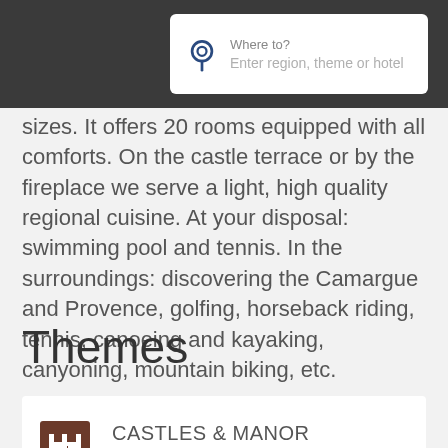[Figure (screenshot): Search bar UI element with location pin icon, label 'Where to?' and placeholder text 'Enter region, theme or hotel' on dark background]
sizes. It offers 20 rooms equipped with all comforts. On the castle terrace or by the fireplace we serve a light, high quality regional cuisine. At your disposal: swimming pool and tennis. In the surroundings: discovering the Camargue and Provence, golfing, horseback riding, tennis, canoeing and kayaking, canyoning, mountain biking, etc.
Themes
CASTLES & MANOR HOUSES